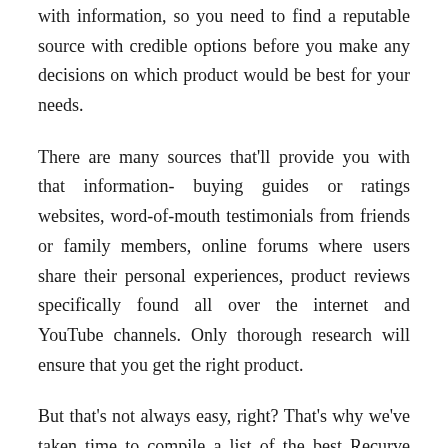with information, so you need to find a reputable source with credible options before you make any decisions on which product would be best for your needs.
There are many sources that'll provide you with that information- buying guides or ratings websites, word-of-mouth testimonials from friends or family members, online forums where users share their personal experiences, product reviews specifically found all over the internet and YouTube channels. Only thorough research will ensure that you get the right product.
But that's not always easy, right? That's why we've taken time to compile a list of the best Recurve Bow